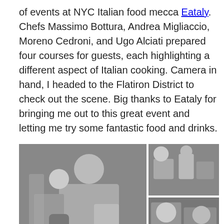of events at NYC Italian food mecca Eataly. Chefs Massimo Bottura, Andrea Migliaccio, Moreno Cedroni, and Ugo Alciati prepared four courses for guests, each highlighting a different aspect of Italian cooking. Camera in hand, I headed to the Flatiron District to check out the scene. Big thanks to Eataly for bringing me out to this great event and letting me try some fantastic food and drinks.
[Figure (photo): Collage of black and white photos showing chefs at work in a kitchen, plating food, cooking, and interacting. Main large photo on the left shows a chef with glasses concentrating on plating. Two smaller photos on the right show kitchen scenes. Two partial photos at the bottom.]